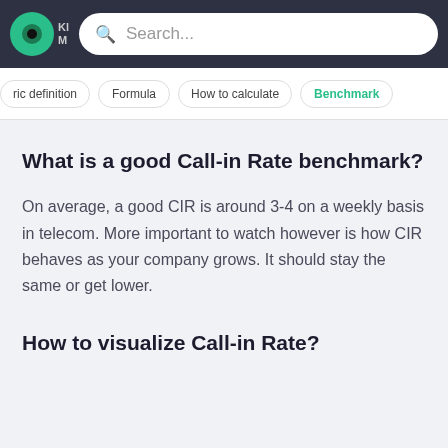[Figure (screenshot): Top navigation bar with dark background, green logo icon, and search box]
ric definition | Formula | How to calculate | Benchmark
What is a good Call-in Rate benchmark?
On average, a good CIR is around 3-4 on a weekly basis in telecom. More important to watch however is how CIR behaves as your company grows. It should stay the same or get lower.
How to visualize Call-in Rate?